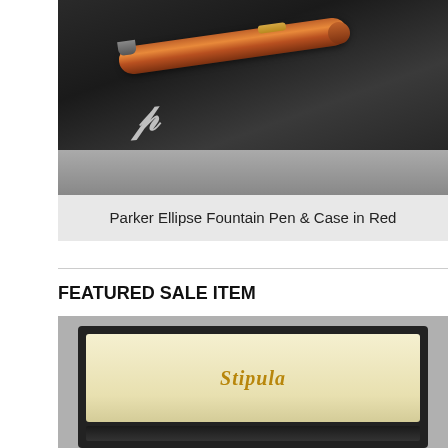[Figure (photo): Parker Ellipse fountain pen in red/orange with gold trim lying on a dark velvet/fabric surface with Parker script logo visible. Gray leather case partially visible at bottom.]
Parker Ellipse Fountain Pen & Case in Red
FEATURED SALE ITEM
[Figure (photo): Open Stipula pen box with dark exterior and cream/ivory interior lining, gold Stipula logo script visible on the interior lid. Gray background.]